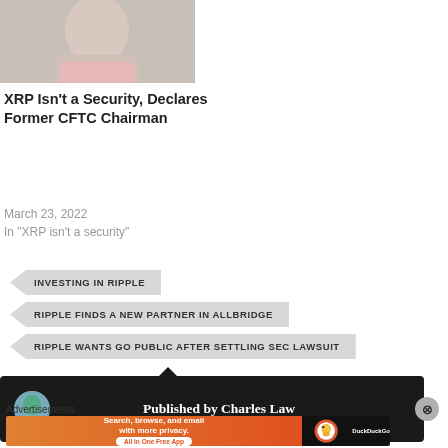[Figure (photo): Partial photo of a man, likely a news interview or broadcast screenshot]
XRP Isn't a Security, Declares Former CFTC Chairman
March 23, 2022
In "XRP isn't a security"
INVESTING IN RIPPLE
RIPPLE FINDS A NEW PARTNER IN ALLBRIDGE
RIPPLE WANTS GO PUBLIC AFTER SETTLING SEC LAWSUIT
Published by Charles Law
Advertisements
[Figure (screenshot): DuckDuckGo advertisement banner: Search, browse, and email with more privacy. All in One Free App. DuckDuckGo logo.]